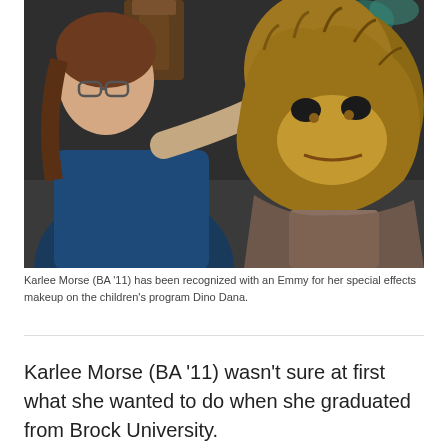[Figure (photo): A woman with glasses applying special effects makeup to a person wearing a large animal/creature head costume or mask with brown fur and textured skin, in what appears to be a backstage or workshop setting.]
Karlee Morse (BA '11) has been recognized with an Emmy for her special effects makeup on the children's program Dino Dana.
Karlee Morse (BA '11) wasn't sure at first what she wanted to do when she graduated from Brock University.